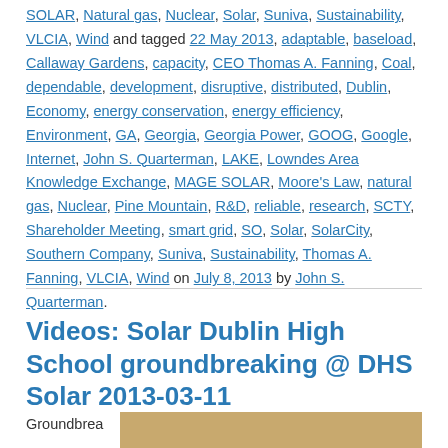SOLAR, Natural gas, Nuclear, Solar, Suniva, Sustainability, VLCIA, Wind and tagged 22 May 2013, adaptable, baseload, Callaway Gardens, capacity, CEO Thomas A. Fanning, Coal, dependable, development, disruptive, distributed, Dublin, Economy, energy conservation, energy efficiency, Environment, GA, Georgia, Georgia Power, GOOG, Google, Internet, John S. Quarterman, LAKE, Lowndes Area Knowledge Exchange, MAGE SOLAR, Moore's Law, natural gas, Nuclear, Pine Mountain, R&D, reliable, research, SCTY, Shareholder Meeting, smart grid, SO, Solar, SolarCity, Southern Company, Suniva, Sustainability, Thomas A. Fanning, VLCIA, Wind on July 8, 2013 by John S. Quarterman.
Videos: Solar Dublin High School groundbreaking @ DHS Solar 2013-03-11
Groundbrea
[Figure (photo): Partial thumbnail photo of solar groundbreaking event, showing an outdoor scene with warm tones.]